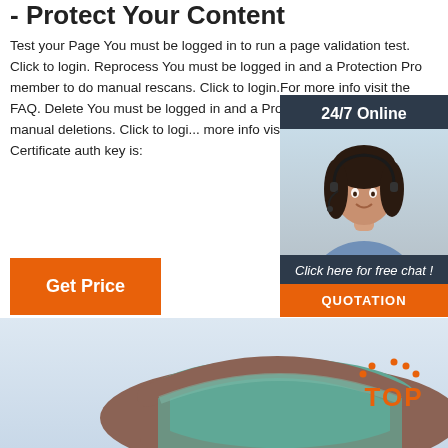- Protect Your Content
Test your Page You must be logged in to run a page validation test. Click to login. Reprocess You must be logged in and a Protection Pro member to do manual rescans. Click to login.For more info visit the FAQ. Delete You must be logged in and a Protection Pro member to do manual deletions. Click to login. For more info visit the FAQ. Auth Key Certificate auth key is:
[Figure (photo): 24/7 Online chat widget with a woman wearing a headset, with Click here for free chat! text and QUOTATION button]
Get Price
[Figure (photo): Bottom image showing an inflatable bounce house structure in brown/teal colors against a light sky background, with a TOP badge in orange on the right side]